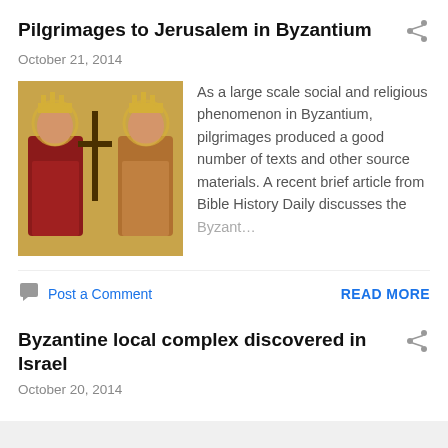Pilgrimages to Jerusalem in Byzantium
October 21, 2014
[Figure (illustration): Byzantine icon showing two royal/imperial figures with crowns and a cross between them, wearing ornate robes]
As a large scale social and religious phenomenon in Byzantium, pilgrimages produced a good number of texts and other source materials. A recent brief article from Bible History Daily discusses the Byzant…
Post a Comment
READ MORE
Byzantine local complex discovered in Israel
October 20, 2014